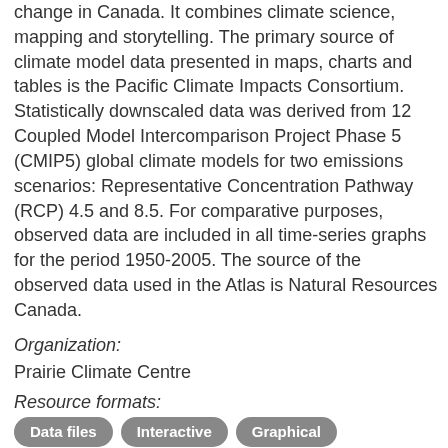change in Canada. It combines climate science, mapping and storytelling. The primary source of climate model data presented in maps, charts and tables is the Pacific Climate Impacts Consortium. Statistically downscaled data was derived from 12 Coupled Model Intercomparison Project Phase 5 (CMIP5) global climate models for two emissions scenarios: Representative Concentration Pathway (RCP) 4.5 and 8.5. For comparative purposes, observed data are included in all time-series graphs for the period 1950-2005. The source of the observed data used in the Atlas is Natural Resources Canada.
Organization:
Prairie Climate Centre
Resource formats:
Data files
Interactive
Graphical
Mapped
Tool
Educational and awareness-raising material